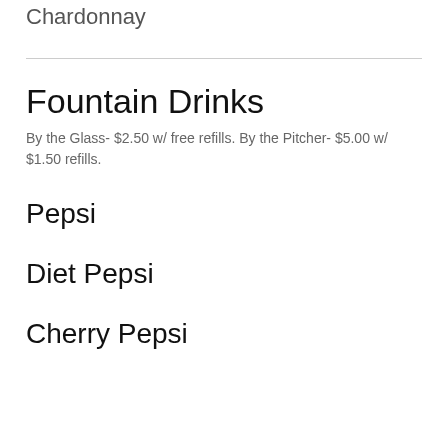Chardonnay
Fountain Drinks
By the Glass- $2.50 w/ free refills. By the Pitcher- $5.00 w/ $1.50 refills.
Pepsi
Diet Pepsi
Cherry Pepsi